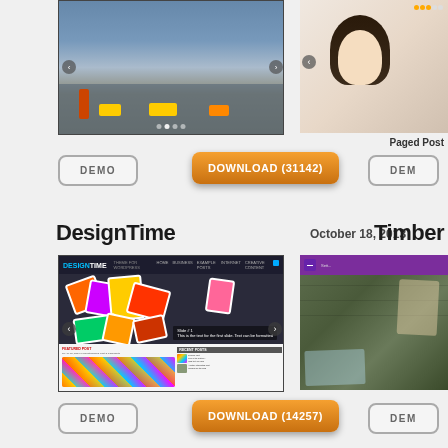[Figure (screenshot): Website screenshot at top of page showing a street/city scene slideshow thumbnail]
[Figure (screenshot): Partial right-side screenshot showing a woman's portrait and 'Paged Post' label]
Paged Post
DEMO
DOWNLOAD (31142)
DEMO (partial)
DesignTime
October 18, 2013
Timber
[Figure (screenshot): DesignTime WordPress theme screenshot showing colorful sticker-art hero image slider with navigation arrows and post listings below]
[Figure (screenshot): Partial right-side Timber theme screenshot showing purple UI and wooden/craft background]
DEMO
DOWNLOAD (14257)
DEMO (partial)